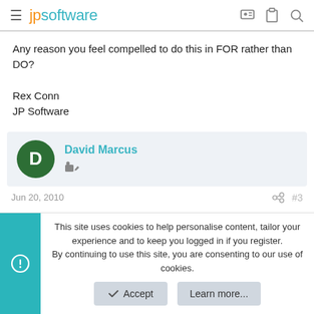jpsoftware
Any reason you feel compelled to do this in FOR rather than DO?

Rex Conn
JP Software
David Marcus
Jun 20, 2010  #3
This site uses cookies to help personalise content, tailor your experience and to keep you logged in if you register.
By continuing to use this site, you are consenting to our use of cookies.